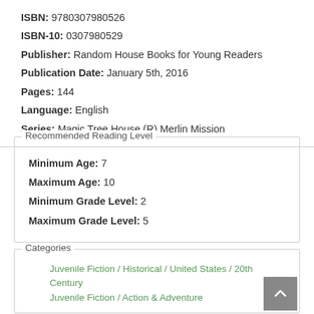ISBN: 9780307980526
ISBN-10: 0307980529
Publisher: Random House Books for Young Readers
Publication Date: January 5th, 2016
Pages: 144
Language: English
Series: Magic Tree House (R) Merlin Mission
Recommended Reading Level
Minimum Age: 7
Maximum Age: 10
Minimum Grade Level: 2
Maximum Grade Level: 5
Categories
Juvenile Fiction / Historical / United States / 20th Century
Juvenile Fiction / Action & Adventure